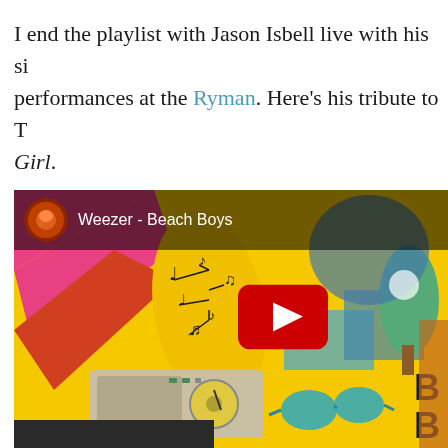I end the playlist with Jason Isbell live with his si performances at the Ryman. Here's his tribute to Girl.
[Figure (screenshot): YouTube video embed thumbnail for 'Weezer - Beach Boys' showing colorful animated illustration with a yellow character, musical notes, a vintage radio, teal sunglasses on yellow background, with YouTube play button overlay]